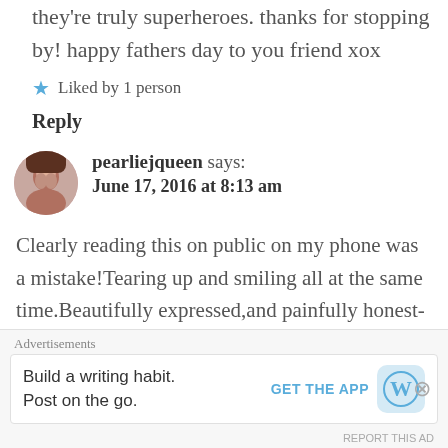they're truly superheroes. thanks for stopping by! happy fathers day to you friend xox
Liked by 1 person
Reply
pearliejqueen says: June 17, 2016 at 8:13 am
[Figure (photo): Avatar photo of pearliejqueen commenter]
Clearly reading this on public on my phone was a mistake!Tearing up and smiling all at the same time.Beautifully expressed,and painfully honest-thank
Advertisements
Build a writing habit. Post on the go. GET THE APP